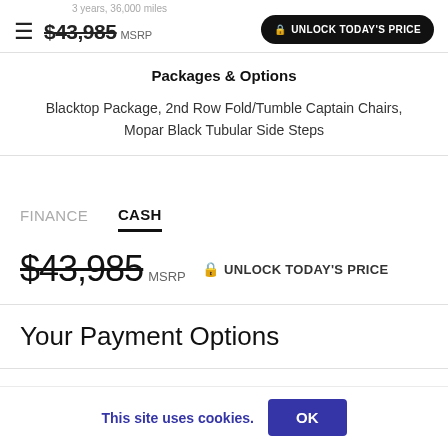3 years, 36,000 miles | $43,985 MSRP | UNLOCK TODAY'S PRICE
Packages & Options
Blacktop Package, 2nd Row Fold/Tumble Captain Chairs, Mopar Black Tubular Side Steps
FINANCE   CASH
$43,985 MSRP  🔒 UNLOCK TODAY'S PRICE
Your Payment Options
This site uses cookies.
OK